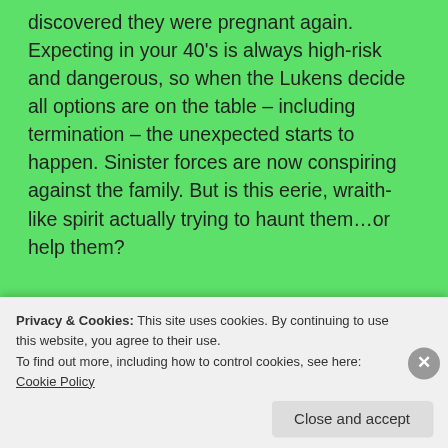discovered they were pregnant again. Expecting in your 40's is always high-risk and dangerous, so when the Lukens decide all options are on the table – including termination – the unexpected starts to happen. Sinister forces are now conspiring against the family. But is this eerie, wraith-like spirit actually trying to haunt them...or help them?
[Figure (screenshot): Pocket Casts advertisement banner — red background with white bold text 'for listeners.' and Pocket Casts logo on the right, with a smartphone image in the center]
Privacy & Cookies: This site uses cookies. By continuing to use this website, you agree to their use.
To find out more, including how to control cookies, see here: Cookie Policy